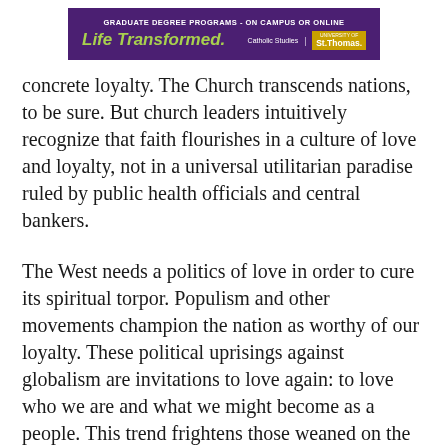[Figure (other): Advertisement banner for University of St. Thomas graduate degree programs. Purple background with text 'GRADUATE DEGREE PROGRAMS - ON CAMPUS OR ONLINE', green italic text 'Life Transformed.', and St. Thomas logo with Catholic Studies branding.]
concrete loyalty. The Church transcends nations, to be sure. But church leaders intuitively recognize that faith flourishes in a culture of love and loyalty, not in a universal utilitarian paradise ruled by public health officials and central bankers.
The West needs a politics of love in order to cure its spiritual torpor. Populism and other movements champion the nation as worthy of our loyalty. These political uprisings against globalism are invitations to love again: to love who we are and what we might become as a people. This trend frightens those weaned on the open society motifs that see fascism in anything ardent and affirming. But we are living in 2021, not 1939. In an era when Greta Thunberg is our prophet,